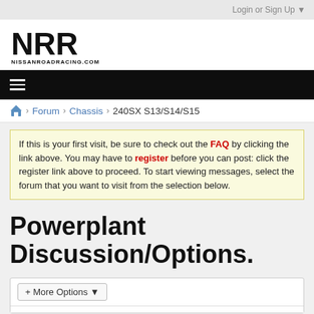Login or Sign Up ▼
[Figure (logo): NRR NissanRoadRacing.com logo — bold black letters NRR with NISSANROADRACING.COM below]
≡ (hamburger menu icon)
🏠 > Forum > Chassis > 240SX S13/S14/S15
If this is your first visit, be sure to check out the FAQ by clicking the link above. You may have to register before you can post: click the register link above to proceed. To start viewing messages, select the forum that you want to visit from the selection below.
Powerplant Discussion/Options.
+ More Options ▼